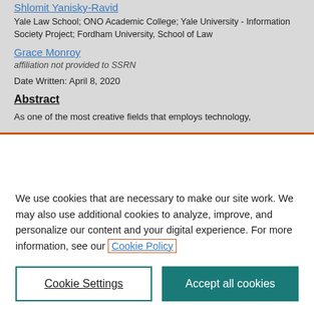Yale Law School; ONO Academic College; Yale University - Information Society Project; Fordham University, School of Law
Grace Monroy
affiliation not provided to SSRN
Date Written: April 8, 2020
Abstract
As one of the most creative fields that employs technology,
We use cookies that are necessary to make our site work. We may also use additional cookies to analyze, improve, and personalize our content and your digital experience. For more information, see our Cookie Policy
Cookie Settings
Accept all cookies